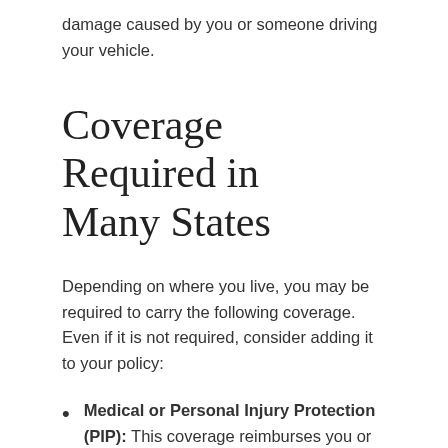damage caused by you or someone driving your vehicle.
Coverage Required in Many States
Depending on where you live, you may be required to carry the following coverage. Even if it is not required, consider adding it to your policy:
Medical or Personal Injury Protection (PIP): This coverage reimburses you or your passengers for medical expenses, lost wages, and other related expenses.